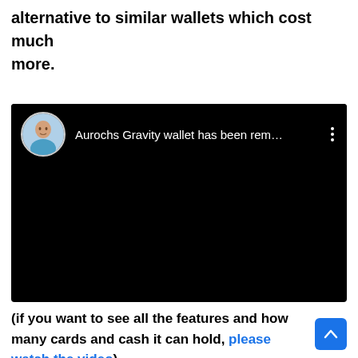alternative to similar wallets which cost much more.
[Figure (screenshot): Embedded video screenshot with dark/black background showing a YouTube-style video thumbnail. The top bar shows a circular avatar of a man, the title 'Aurochs Gravity wallet has been rem…', and a three-dot menu icon.]
(if you want to see all the features and how many cards and cash it can hold, please watch the video)